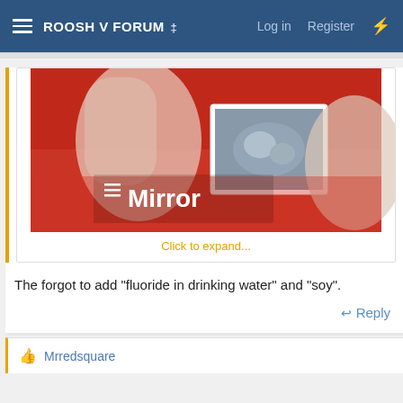ROOSH V FORUM ‡  Log in  Register
[Figure (screenshot): Screenshot of Mirror website showing a red-toned image of pregnant woman holding an ultrasound photo, with Mirror logo/hamburger menu overlay at bottom left]
Click to expand...
The forgot to add "fluoride in drinking water" and "soy".
↩ Reply
👍 Mrredsquare